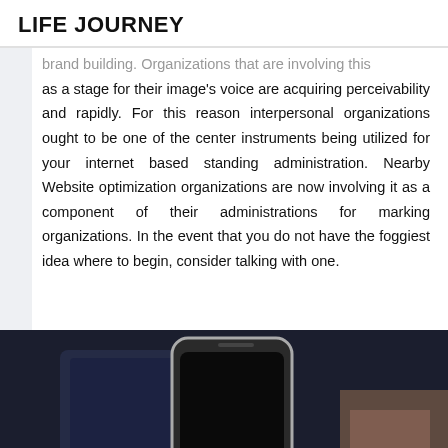LIFE JOURNEY
brand building. Organizations that are involving this as a stage for their image's voice are acquiring perceivability and rapidly. For this reason interpersonal organizations ought to be one of the center instruments being utilized for your internet based standing administration. Nearby Website optimization organizations are now involving it as a component of their administrations for marking organizations. In the event that you do not have the foggiest idea where to begin, consider talking with one.
[Figure (photo): A hand holding a smartphone with a dark/black screen, shown against a dark background with blurred computer monitor visible behind.]